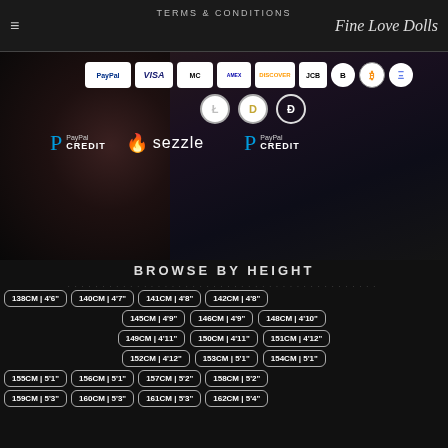TERMS & CONDITIONS | Fine Love Dolls
[Figure (screenshot): Website banner with dark female figure and payment method logos including PayPal, Visa, MasterCard, American Express, Discover, JCB, BitcoinCash, Bitcoin, Ethereum, Litecoin, Dogecoin, Dash, PayPal Credit, Sezzle]
BROWSE BY HEIGHT
138CM | 4'6"
140CM | 4'7"
141CM | 4'8"
142CM | 4'8"
145CM | 4'9"
146CM | 4'9"
148CM | 4'10"
149CM | 4'11"
150CM | 4'11"
151CM | 4'12"
152CM | 4'12"
153CM | 5'1"
154CM | 5'1"
155CM | 5'1"
156CM | 5'1"
157CM | 5'2"
158CM | 5'2"
159CM | 5'3"
160CM | 5'3"
161CM | 5'3"
162CM | 5'4"